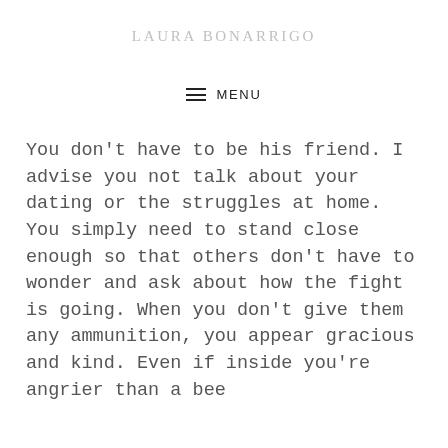LAURA BONARRIGO
≡ MENU
You don't have to be his friend. I advise you not talk about your dating or the struggles at home. You simply need to stand close enough so that others don't have to wonder and ask about how the fight is going. When you don't give them any ammunition, you appear gracious and kind. Even if inside you're angrier than a bee